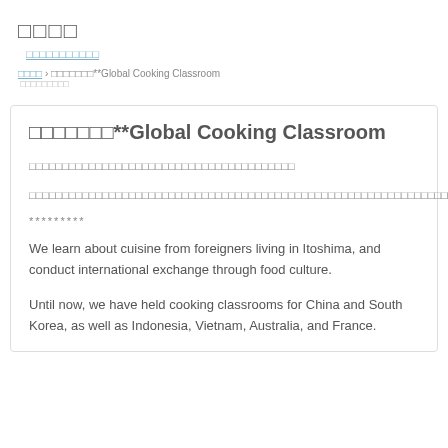□□□□
□□□□□□□□□□□
□□□□ › □□□□□□□**Global Cooking Classroom
□□□□□□□**Global Cooking Classroom
□□□□□□□□□□□□□□□□□□□□□□□□□□□□□□□□□□□□□□□□
□□□□□□□□□□□□□□□□□□□□□□□□□□□□□□□□□□□□□□□□□□□□□□□□□□□□□□□□□□□□□□□□□□□□
*********
We learn about cuisine from foreigners living in Itoshima, and conduct international exchange through food culture.
Until now, we have held cooking classrooms for China and South Korea, as well as Indonesia, Vietnam, Australia, and France.